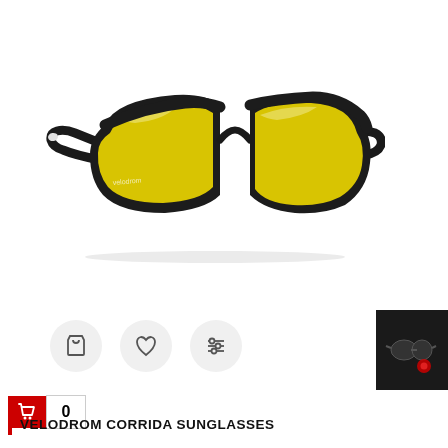[Figure (photo): Product photo of Velodrom Corrida Sunglasses — black frame wraparound sunglasses with yellow lenses, shown at a 3/4 angle on white background]
[Figure (infographic): Three circular icon buttons in a row: shopping bag/cart icon, heart/wishlist icon, and sliders/settings icon, all on light gray circular backgrounds]
[Figure (photo): Small dark thumbnail preview image in bottom-right corner showing the sunglasses on a dark background with a red circular element]
0
VELODROM CORRIDA SUNGLASSES